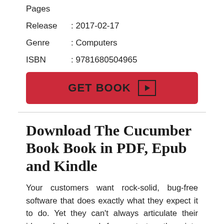Pages
Release : 2017-02-17
Genre : Computers
ISBN : 9781680504965
[Figure (other): Red button labeled GET BOOK with play icon]
Download The Cucumber Book Book in PDF, Epub and Kindle
Your customers want rock-solid, bug-free software that does exactly what they expect it to do. Yet they can't always articulate their ideas clearly enough for you to turn them into code. You need Cucumber: a testing, communication, and requirements tool-all